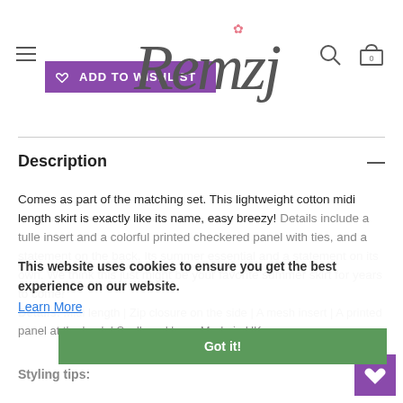Remzi logo with navigation, Add to Wishlist button, search and cart icons
Description
Comes as part of the matching set. This lightweight cotton midi length skirt is exactly like its name, easy breezy! Details include a tulle insert and a colorful printed checkered panel with ties, and a statement on the back. Its summer essential and a statement on its own. We think this just might be your favorite summer skirt for years to come!
This website uses cookies to ensure you get the best experience on our website.
Learn More
Got it!
Details: Midi length | Zip closure on the side | A mesh insert | A printed panel at the back | Scalloped hem. Made in UK.
Styling tips: